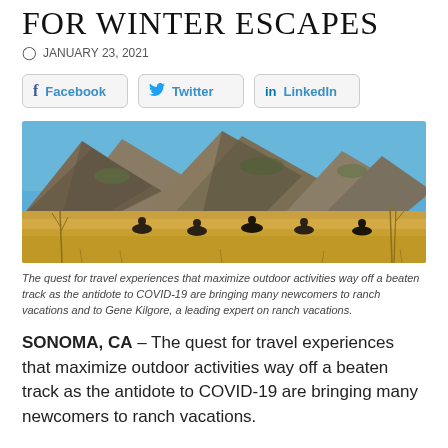FOR WINTER ESCAPES
JANUARY 23, 2021
[Figure (screenshot): Social share buttons for Facebook, Twitter, and LinkedIn]
[Figure (photo): Group of horseback riders in golden grassland with mountain backdrop under blue sky]
The quest for travel experiences that maximize outdoor activities way off a beaten track as the antidote to COVID-19 are bringing many newcomers to ranch vacations and to Gene Kilgore, a leading expert on ranch vacations.
SONOMA, CA – The quest for travel experiences that maximize outdoor activities way off a beaten track as the antidote to COVID-19 are bringing many newcomers to ranch vacations.